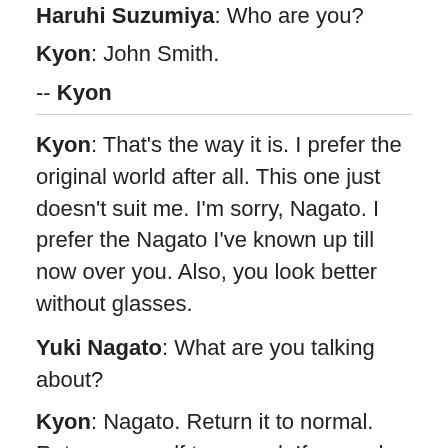Haruhi Suzumiya: Who are you?
Kyon: John Smith.
-- Kyon
Kyon: That's the way it is. I prefer the original world after all. This one just doesn't suit me. I'm sorry, Nagato. I prefer the Nagato I've known up till now over you. Also, you look better without glasses.
Yuki Nagato: What are you talking about?
Kyon: Nagato. Return it to normal. Return yourself to normal. If you ask, I'll help you. You don't have to use that power to forcefully change things. It was fine the way it was.
Mikuru Asahina: Kyon-kun... It's pointless. This Nagato-san is completely powerless. She's just...